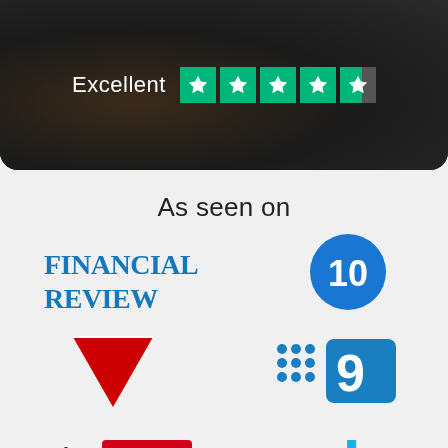[Figure (infographic): Trustpilot Excellent rating with 4.5 green stars on dark background]
As seen on
[Figure (logo): Financial Review logo in blue bold text]
[Figure (logo): Channel 10 logo - blue circle with white 10]
[Figure (logo): Channel 7 logo - red stylized 7]
[Figure (logo): Channel 9 logo - nine dots and a 9 in teal/blue]
[Figure (logo): Sky News logo with red news box]
[Figure (logo): REB logo in blue text]
[Figure (logo): The Australian newspaper logo with red star marker]